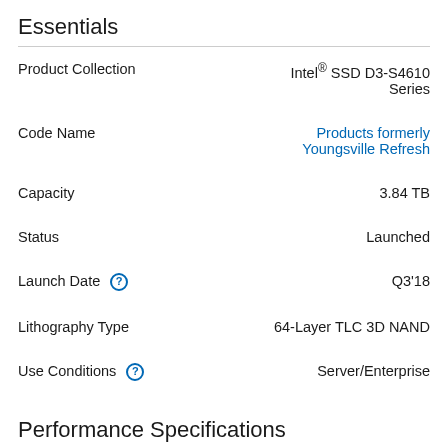Essentials
| Property | Value |
| --- | --- |
| Product Collection | Intel® SSD D3-S4610 Series |
| Code Name | Products formerly Youngsville Refresh |
| Capacity | 3.84 TB |
| Status | Launched |
| Launch Date | Q3'18 |
| Lithography Type | 64-Layer TLC 3D NAND |
| Use Conditions | Server/Enterprise |
Performance Specifications